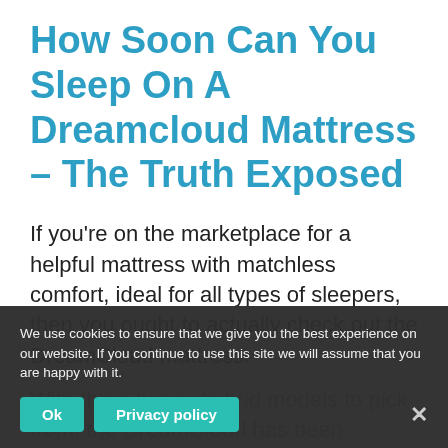How Soon Can You Sleep On A Dreamcloud Mattress – The Truth Exposed
If you're on the marketplace for a helpful mattress with matchless comfort, ideal for all types of sleepers, then you ought to actually check out the DreamCloud mattress.
With three luxury hybrid models to pick from, the DreamCloud has been specifically made with pressure relief and best spine positioning considered, in addition
We use cookies to ensure that we give you the best experience on our website. If you continue to use this site we will assume that you are happy with it.